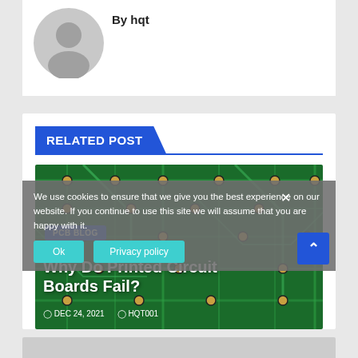By hqt
[Figure (illustration): Gray default user avatar circle icon]
RELATED POST
[Figure (photo): Green printed circuit board (PCB) close-up photo with gold vias and traces, used as background for a blog post card. Badge: PCB BLOG. Title: Why Do Printed Circuit Boards Fail? Date: DEC 24, 2021. Author: HQT001.]
We use cookies to ensure that we give you the best experience on our website. If you continue to use this site we will assume that you are happy with it.
Ok   Privacy policy